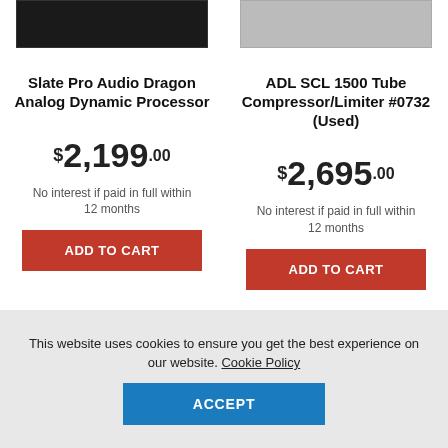[Figure (photo): Slate Pro Audio Dragon Analog Dynamic Processor - dark rack unit hardware photo]
[Figure (photo): ADL SCL 1500 Tube Compressor/Limiter - silver/grey rack unit hardware photo]
Slate Pro Audio Dragon Analog Dynamic Processor
ADL SCL 1500 Tube Compressor/Limiter #0732 (Used)
$2,199.00
$2,695.00
No interest if paid in full within 12 months
No interest if paid in full within 12 months
ADD TO CART
ADD TO CART
This website uses cookies to ensure you get the best experience on our website. Cookie Policy
ACCEPT